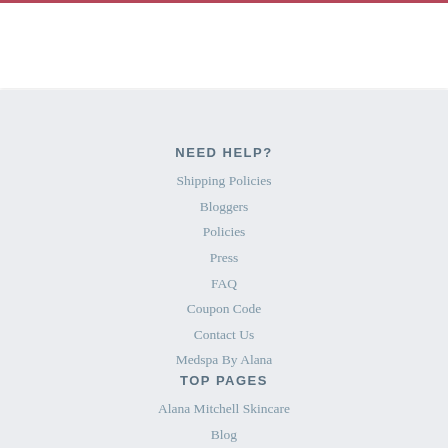NEED HELP?
Shipping Policies
Bloggers
Policies
Press
FAQ
Coupon Code
Contact Us
Medspa By Alana
TOP PAGES
Alana Mitchell Skincare
Blog
Ingredients Dictionary
Product FAQ
Monthly Contest